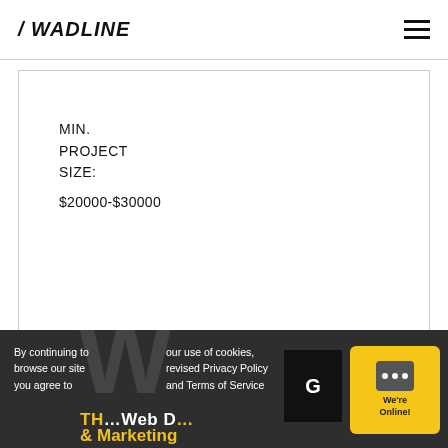/ WADLINE
MIN.
PROJECT
SIZE:
$20000-$30000
profile ›
By continuing to browse our site you agree to our use of cookies, revised Privacy Policy and Terms of Service
We're Online!